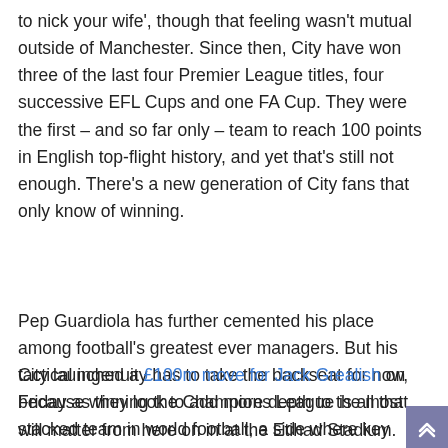to nick your wife', though that feeling wasn't mutual outside of Manchester. Since then, City have won three of the last four Premier League titles, four successive EFL Cups and one FA Cup. They were the first – and so far only – team to reach 100 points in English top-flight history, and yet that's still not enough. There's a new generation of City fans that only know of winning.
Pep Guardiola has further cemented his place among football's greatest ever managers. But his tactical ingenuity has to take the backseat for now, because winning the Champions League is all that will matter from here on in at the Etihad Stadium.
City launched a £100m move for Jack Grealish on Friday as they look to add more depth to the most stacked team in world football, a side where key players such as